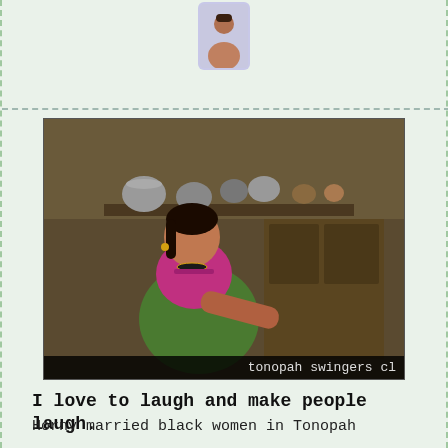[Figure (photo): Small profile/avatar icon at top center in a light blue-purple rounded rectangle]
[Figure (photo): Photo of a woman in a kitchen/home setting, wearing a pink/magenta top and green saree, with watermark 'icm-satp.com' at top and 'tonopah swingers cl' text at bottom]
I love to laugh and make people laugh.
Horny married black women in Tonopah